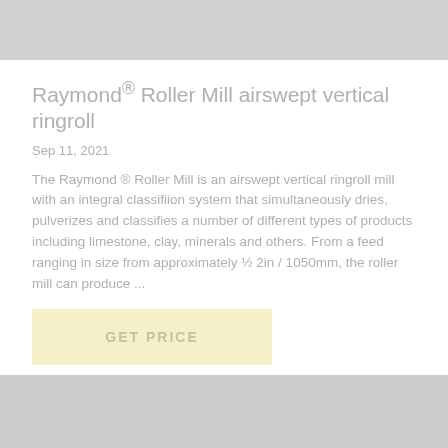[Figure (photo): Gray banner image at the top of the page, likely showing the Raymond Roller Mill or similar industrial equipment]
Raymond® Roller Mill airswept vertical ringroll
Sep 11, 2021
The Raymond ® Roller Mill is an airswept vertical ringroll mill with an integral classifiion system that simultaneously dries, pulverizes and classifies a number of different types of products including limestone, clay, minerals and others. From a feed ranging in size from approximately ½ 2in / 1050mm, the roller mill can produce ...
[Figure (other): Yellow/cream colored GET PRICE button]
[Figure (photo): Gray image area at the bottom of the page showing partially visible content of another listing or section]